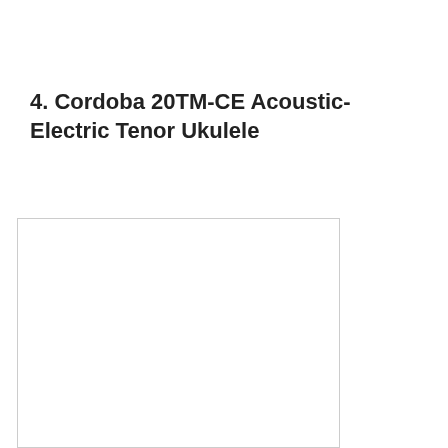4. Cordoba 20TM-CE Acoustic-Electric Tenor Ukulele
[Figure (photo): Empty white image placeholder box with a light gray border]